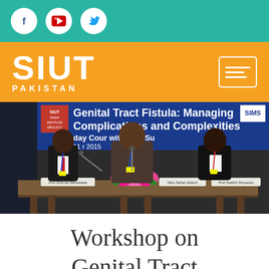[Figure (other): Top navigation bar with social media icons: Facebook, YouTube, Twitter on a teal/green background]
[Figure (logo): SIUT Pakistan logo in white text on orange background, with hamburger menu icon on right]
[Figure (photo): Conference photo showing three people seated at a table in front of a banner reading 'Genital Tract Fistula: Managing Complications and Complexities - day Course with Live Surgery - 11 [date] 2015' with SIUT and SIMS logos]
Workshop on Genital Tract Fistula